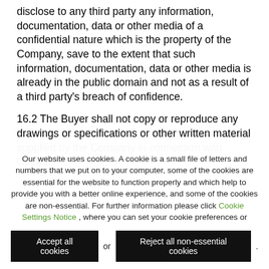disclose to any third party any information, documentation, data or other media of a confidential nature which is the property of the Company, save to the extent that such information, documentation, data or other media is already in the public domain and not as a result of a third party's breach of confidence.
16.2 The Buyer shall not copy or reproduce any drawings or specifications or other written material supplied by the Company in connection with Goods.
Our website uses cookies. A cookie is a small file of letters and numbers that we put on to your computer, some of the cookies are essential for the website to function properly and which help to provide you with a better online experience, and some of the cookies are non-essential. For further information please click Cookie Settings Notice , where you can set your cookie preferences or
Accept all cookies or Reject all non-essential cookies .